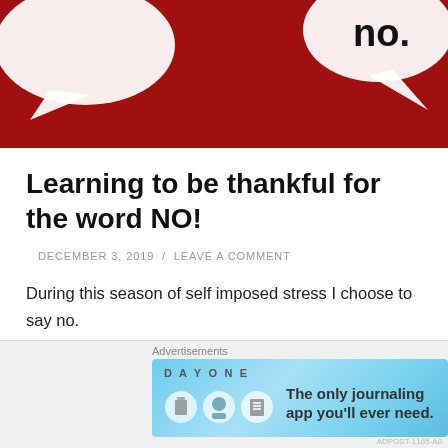[Figure (illustration): Red banner with white speech bubbles containing 'no.' text on the right side, decorative header image for blog post]
Learning to be thankful for the word NO!
DECEMBER 3, 2019 / LEAVE A COMMENT
During this season of self imposed stress I choose to say no.
And, when I say no...to all the things that serve no meaningful purpose in my life I am truly saying yes to peace, harmony and personal growth. It may seem
Advertisements
[Figure (illustration): Day One journaling app advertisement banner with light blue background, Day One logo icons, and text 'The only journaling app you'll ever need.']